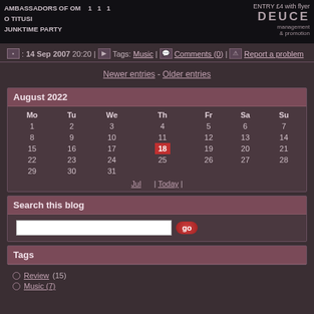AMBASSADORS OF OM  1  1  1
O TITUSI
JUNKTIME PARTY
ENTRY £4 with flyer  DEUCE  management & promotion
14 Sep 2007 20:20 | Tags: Music | Comments (0) | Report a problem
Newer entries - Older entries
| Mo | Tu | We | Th | Fr | Sa | Su |
| --- | --- | --- | --- | --- | --- | --- |
| 1 | 2 | 3 | 4 | 5 | 6 | 7 |
| 8 | 9 | 10 | 11 | 12 | 13 | 14 |
| 15 | 16 | 17 | 18 | 19 | 20 | 21 |
| 22 | 23 | 24 | 25 | 26 | 27 | 28 |
| 29 | 30 | 31 |  |  |  |  |
Jul  |  Today  |
Search this blog
Tags
Review (15)
Music (7)